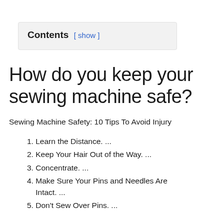Contents [ show ]
How do you keep your sewing machine safe?
Sewing Machine Safety: 10 Tips To Avoid Injury
1. Learn the Distance. ...
2. Keep Your Hair Out of the Way. ...
3. Concentrate. ...
4. Make Sure Your Pins and Needles Are Intact. ...
5. Don't Sew Over Pins. ...